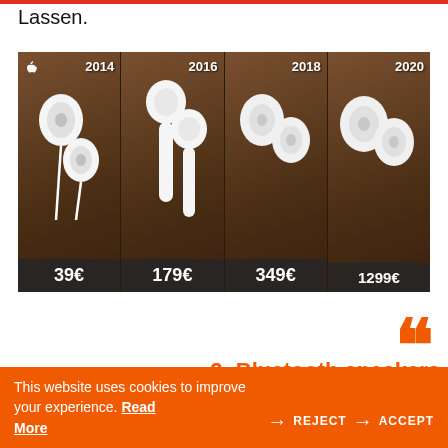Lassen.
[Figure (photo): Four Apple earphone/earbud models from 2014 to 2020, each shown on a wooden surface with year label and price tag. 2014: wired EarPods 39€, 2016: AirPods 1st gen 179€, 2018: AirPods 2nd gen 349€, 2020: AirPods Pro 1299€]
2- Bluetooth speakers
This website uses cookies to improve your experience. Read More
REJECT
ACCEPT